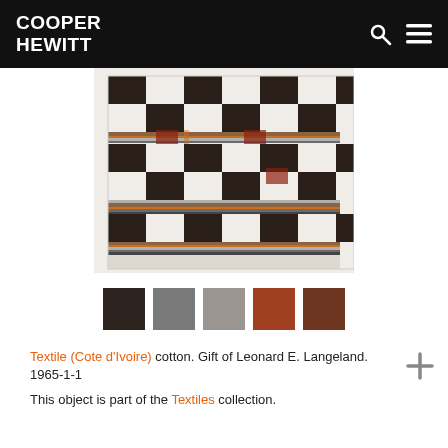COOPER HEWITT
[Figure (photo): A woven textile from Cote d'Ivoire featuring a black and white checkerboard pattern with horizontal striped bands in brown, orange, and grey tones across the middle and edges.]
[Figure (infographic): Five color swatches extracted from the textile: dark brown/black, medium grey, light grey, rust/terracotta, and dark brown.]
Textile (Cote d'Ivoire) cotton. Gift of Leonard E. Langeland. 1965-1-1
This object is part of the Textiles collection.